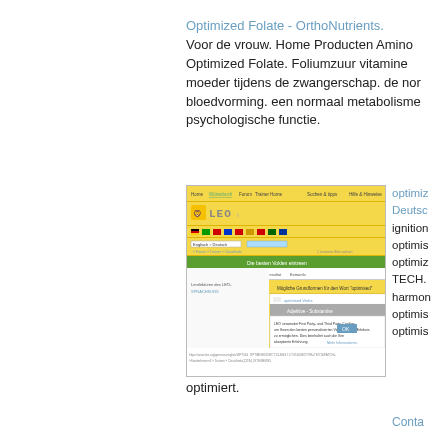Optimized Folate - OrthoNutrients.
Voor de vrouw. Home Producten Amino Optimized Folate. Foliumzuur vitamine moeder tijdens de zwangerschap. de nor bloedvorming. een normaal metabolisme psychologische functie.
[Figure (screenshot): Screenshot of LEO dictionary website with yellow navigation bar, logo, search interface with cookie consent dialog]
optimiz Deutsch ignition optimis optimiz TECH. harmon optimis optimis
optimiert.
Conta